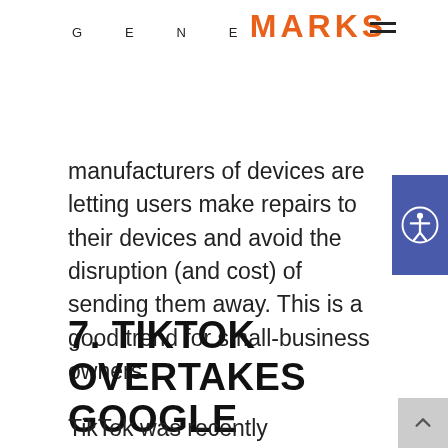GENE MARKS
manufacturers of devices are letting users make repairs to their devices and avoid the disruption (and cost) of sending them away. This is a good trend for small-business owners.
7. TIKTOK OVERTAKES GOOGLE
TikTok was recently announced as overtaking Google for the most...